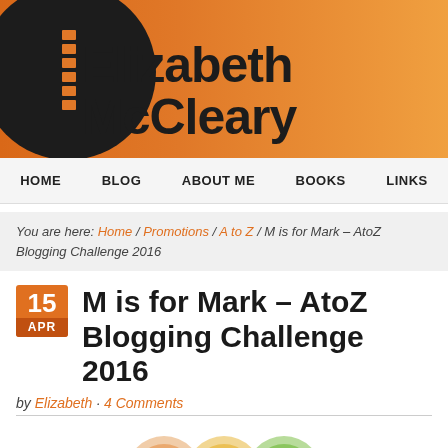[Figure (logo): Elizabeth McCleary blog header with orange gradient background, black circle logo with spine/book icon on left, bold black text 'Elizabeth McCleary' on right]
HOME   BLOG   ABOUT ME   BOOKS   LINKS
You are here: Home / Promotions / A to Z / M is for Mark – AtoZ Blogging Challenge 2016
M is for Mark – AtoZ Blogging Challenge 2016
by Elizabeth · 4 Comments
[Figure (photo): Partial view of colorful circular badge/logo images at bottom of page]